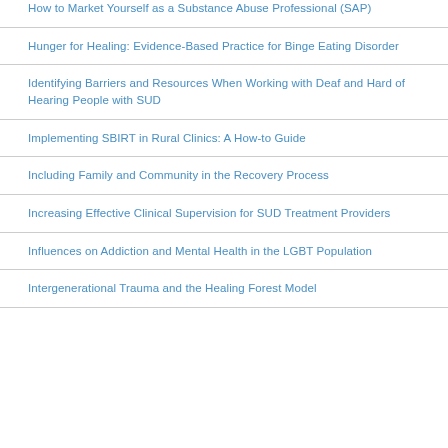How to Market Yourself as a Substance Abuse Professional (SAP)
Hunger for Healing: Evidence-Based Practice for Binge Eating Disorder
Identifying Barriers and Resources When Working with Deaf and Hard of Hearing People with SUD
Implementing SBIRT in Rural Clinics: A How-to Guide
Including Family and Community in the Recovery Process
Increasing Effective Clinical Supervision for SUD Treatment Providers
Influences on Addiction and Mental Health in the LGBT Population
Intergenerational Trauma and the Healing Forest Model